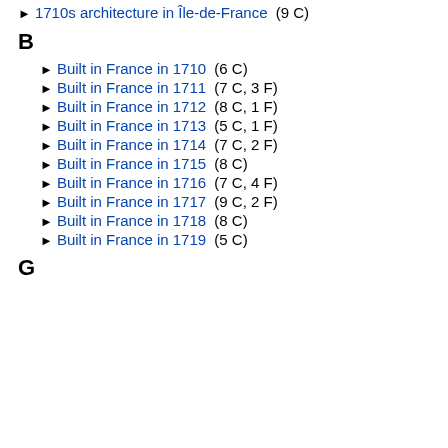▶ 1710s architecture in Île-de-France (9 C)
B
▶ Built in France in 1710 (6 C)
▶ Built in France in 1711 (7 C, 3 F)
▶ Built in France in 1712 (8 C, 1 F)
▶ Built in France in 1713 (5 C, 1 F)
▶ Built in France in 1714 (7 C, 2 F)
▶ Built in France in 1715 (8 C)
▶ Built in France in 1716 (7 C, 4 F)
▶ Built in France in 1717 (9 C, 2 F)
▶ Built in France in 1718 (8 C)
▶ Built in France in 1719 (5 C)
G